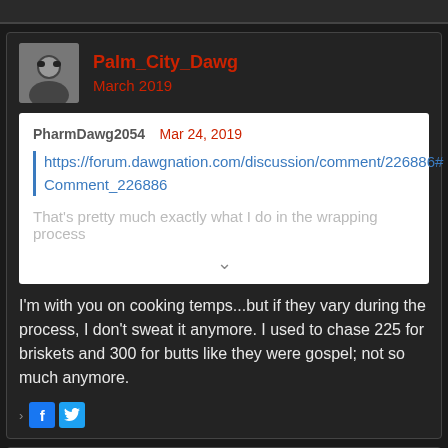Palm_City_Dawg
March 2019
PharmDawg2054   Mar 24, 2019
https://forum.dawgnation.com/discussion/comment/226886#Comment_226886
That's pretty much exactly what I do in the wrapping process
I'm with you on cooking temps...but if they vary during the process, I don't sweat it anymore. I used to chase 225 for briskets and 300 for butts like they were gospel; not so much anymore.
Kasey